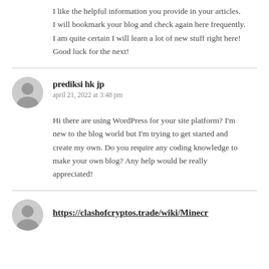I like the helpful information you provide in your articles.
I will bookmark your blog and check again here frequently.
I am quite certain I will learn a lot of new stuff right here! Good luck for the next!
prediksi hk jp
april 21, 2022 at 3:48 pm
Hi there are using WordPress for your site platform? I'm new to the blog world but I'm trying to get started and create my own. Do you require any coding knowledge to make your own blog? Any help would be really appreciated!
https://clashofcryptos.trade/wiki/Minecr